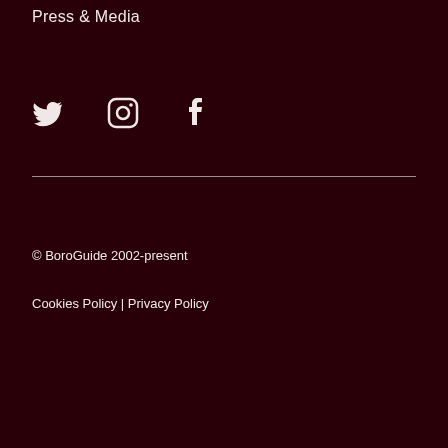Press & Media
[Figure (illustration): Three social media icons in a row: Twitter bird icon, Instagram camera icon, Facebook f icon — all white on dark maroon background]
© BoroGuide 2002-present
Cookies Policy | Privacy Policy